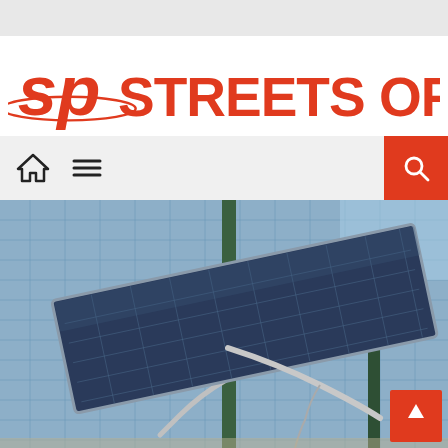Streets of Perth
[Figure (logo): Streets of Perth logo with red stylized 'sp' and red text 'STREETS OF PERTH']
[Figure (photo): A solar panel mounted on a street pole with a glass office building in the background and blue sky. The solar panel is tilted at an angle on a curved metal arm.]